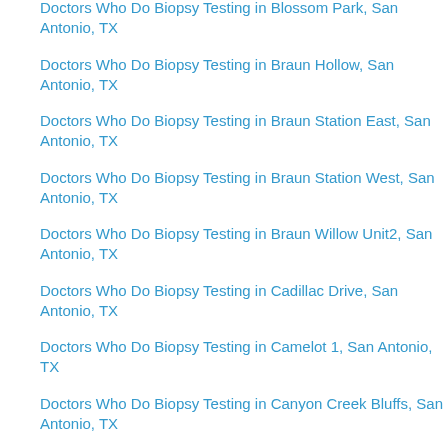Doctors Who Do Biopsy Testing in Blossom Park, San Antonio, TX
Doctors Who Do Biopsy Testing in Braun Hollow, San Antonio, TX
Doctors Who Do Biopsy Testing in Braun Station East, San Antonio, TX
Doctors Who Do Biopsy Testing in Braun Station West, San Antonio, TX
Doctors Who Do Biopsy Testing in Braun Willow Unit2, San Antonio, TX
Doctors Who Do Biopsy Testing in Cadillac Drive, San Antonio, TX
Doctors Who Do Biopsy Testing in Camelot 1, San Antonio, TX
Doctors Who Do Biopsy Testing in Canyon Creek Bluffs, San Antonio, TX
Doctors Who Do Biopsy Testing in Canyon Creek